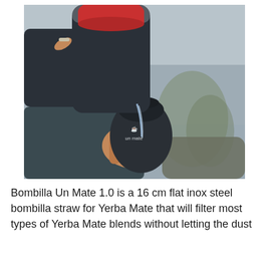[Figure (photo): A hand holding a dark mate gourd branded 'un mate', being filled with water poured from a dark thermos with a red cap. A metal bombilla straw is visible inside the gourd. The background shows an overcast outdoor scene.]
Bombilla Un Mate 1.0 is a 16 cm flat inox steel bombilla straw for Yerba Mate that will filter most types of Yerba Mate blends without letting the dust